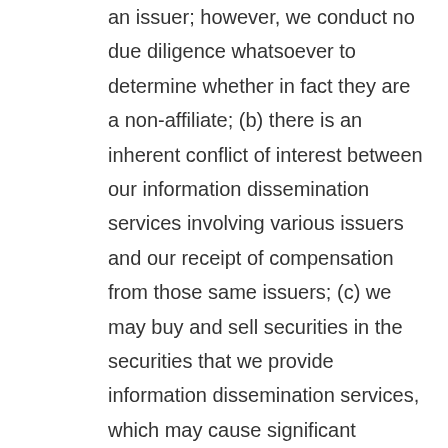an issuer; however, we conduct no due diligence whatsoever to determine whether in fact they are a non-affiliate; (b) there is an inherent conflict of interest between our information dissemination services involving various issuers and our receipt of compensation from those same issuers; (c) we may buy and sell securities in the securities that we provide information dissemination services, which may cause significant volatility in the issuer's stock, price declines from our selling activities, permit us to make substantial profits while we are disseminating profiles or information about the issuer, yet may result in a diminished value to the stock for investors; (c) we conduct no due diligence on the content of our Publications; (d) Penny stocks are subject to the SEC's penny stock rules and subject broker-dealers to customer suitability rules and other requirements, which may lead